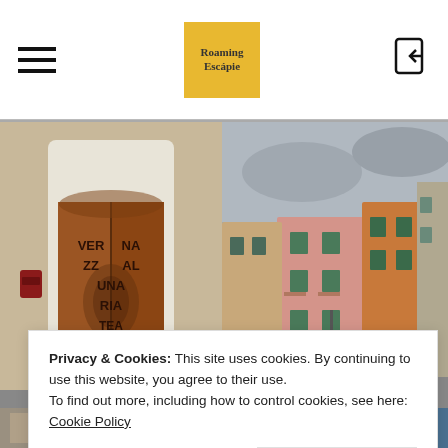Roaming Escápie - navigation header with hamburger menu, logo, and login icon
[Figure (photo): Ornate copper/bronze double door with arched frame and text 'VERNAZZA UNA RIATEATRO' engraved, red mailbox on left wall]
[Figure (photo): Colorful Italian buildings in Vernazza, Cinque Terre, under overcast sky, pink and orange facades with green shutters]
Privacy & Cookies: This site uses cookies. By continuing to use this website, you agree to their use.
To find out more, including how to control cookies, see here: Cookie Policy
Close and accept
[Figure (photo): Bottom strip showing partial view of stone/colorful building facades]
[Figure (photo): Bottom strip showing partial view of colorful Italian building with shuttered windows]